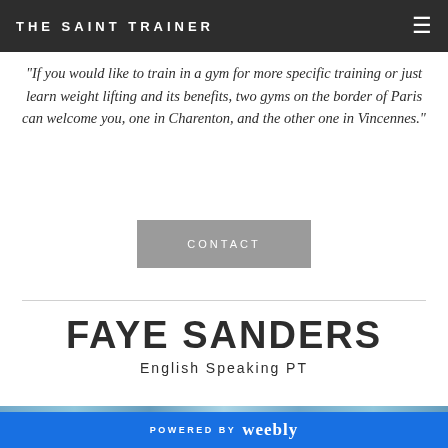THE SAINT TRAINER
"If you would like to train in a gym for more specific training or just learn weight lifting and its benefits, two gyms on the border of Paris can welcome you, one in Charenton, and the other one in Vincennes."
CONTACT
FAYE SANDERS
English Speaking PT
POWERED BY weebly